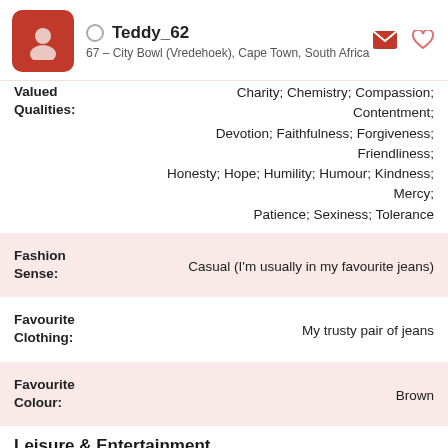Teddy_62 — 67 – City Bowl (Vredehoek), Cape Town, South Africa
Charity; Chemistry; Compassion; Contentment; Devotion; Faithfulness; Forgiveness; Friendliness; Honesty; Hope; Humility; Humour; Kindness; Mercy; Patience; Sexiness; Tolerance
Fashion Sense: Casual (I'm usually in my favourite jeans)
Favourite Clothing: My trusty pair of jeans
Favourite Colour: Brown
Leisure & Entertainment
Date Activities: A movie; A music concert; A picnic in a park; Dinner at a restaurant; Going to the theatre; Meeting for coffee; Meeting for drinks; Walking on the beach